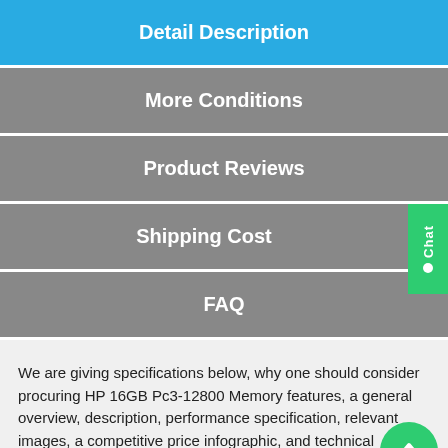Detail Description
More Conditions
Product Reviews
Shipping Cost
FAQ
We are giving specifications below, why one should consider procuring HP 16GB Pc3-12800 Memory features, a general overview, description, performance specification, relevant images, a competitive price infographic, and technical information about the 672631-B21 model with compatibility.